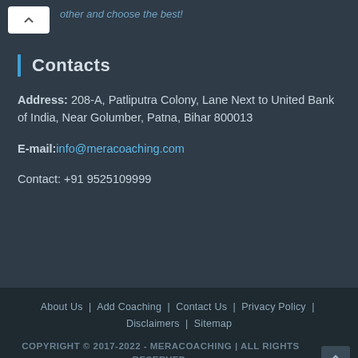other and choose the best!
Contacts
Address: 208-A, Patliputra Colony, Lane Next to United Bank of India, Near Golumber, Patna, Bihar 800013
E-mail:info@meracoaching.com
Contact: +91 9525109999
About Us | Add Coaching | Contact Us | Privacy Policy | Disclaimers | Sitemap
COPYRIGHT © 2017-2022 - MERACOACHING | ALL RIGHTS RESERVED.